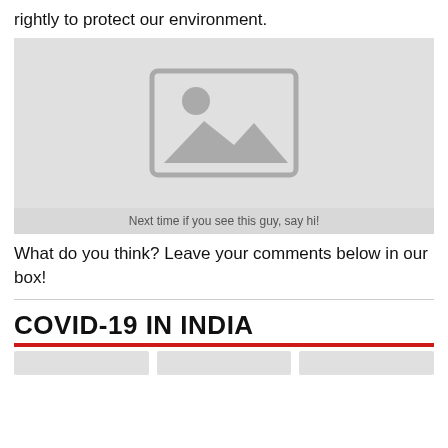rightly to protect our environment.
[Figure (photo): Placeholder image with generic image icon (mountain and sun), with caption below]
Next time if you see this guy, say hi!
What do you think? Leave your comments below in our box!
COVID-19 IN INDIA